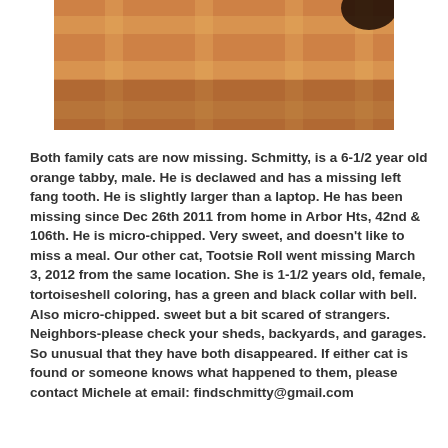[Figure (photo): Partial photo of a cat on a plaid/checkered fabric background, warm orange and tan tones, only the bottom portion of the image is visible.]
Both family cats are now missing. Schmitty, is a 6-1/2 year old orange tabby, male. He is declawed and has a missing left fang tooth. He is slightly larger than a laptop. He has been missing since Dec 26th 2011 from home in Arbor Hts, 42nd & 106th. He is micro-chipped. Very sweet, and doesn't like to miss a meal. Our other cat, Tootsie Roll went missing March 3, 2012 from the same location. She is 1-1/2 years old, female, tortoiseshell coloring, has a green and black collar with bell. Also micro-chipped. sweet but a bit scared of strangers. Neighbors-please check your sheds, backyards, and garages. So unusual that they have both disappeared. If either cat is found or someone knows what happened to them, please contact Michele at email: findschmitty@gmail.com